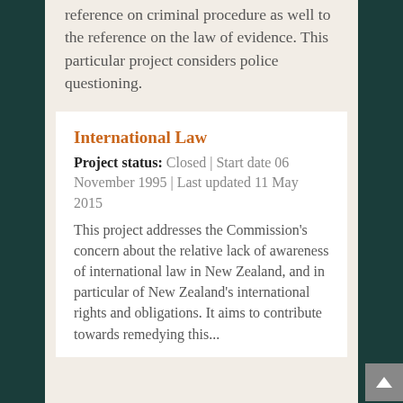reference on criminal procedure as well to the reference on the law of evidence. This particular project considers police questioning.
International Law
Project status: Closed | Start date 06 November 1995 | Last updated 11 May 2015
This project addresses the Commission's concern about the relative lack of awareness of international law in New Zealand, and in particular of New Zealand's international rights and obligations. It aims to contribute towards remedying this...